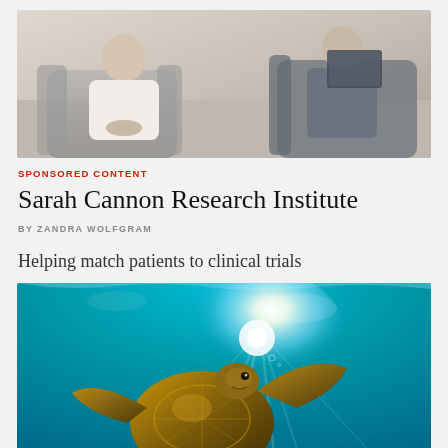[Figure (photo): Two people seated in medical/clinical chairs — a patient in white and a healthcare professional — having a consultation]
SPONSORED CONTENT
Sarah Cannon Research Institute
BY ZANDRA WOLFGRAM
Helping match patients to clinical trials
[Figure (photo): Underwater photograph of a sea turtle swimming upward toward sunlight breaking through the ocean surface, with bright rays in teal-blue water]